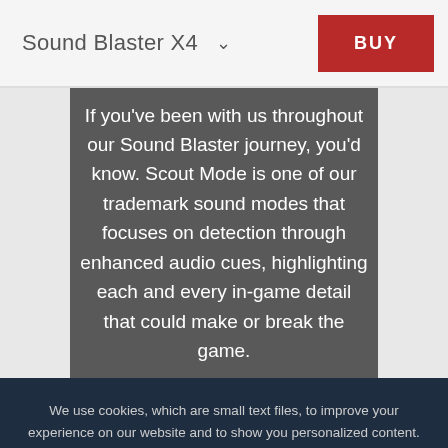Sound Blaster X4    BUY
If you've been with us throughout our Sound Blaster journey, you'd know. Scout Mode is one of our trademark sound modes that focuses on detection through enhanced audio cues, highlighting each and every in-game detail that could make or break the game.
We use cookies, which are small text files, to improve your experience on our website and to show you personalized content. You can allow all or manage them individually.